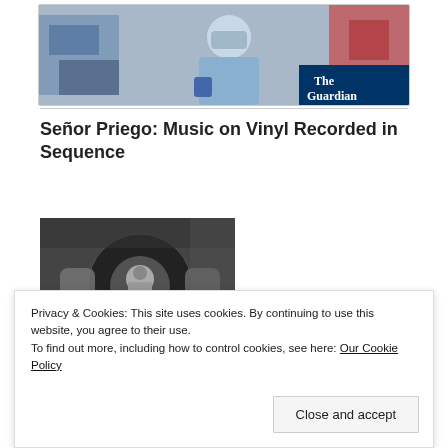[Figure (photo): Photo showing a person in a blue shirt and face mask in a medical/hospital-like setting, with 'The Guardian' logo visible in the bottom right corner]
Señor Priego: Music on Vinyl Recorded in Sequence
[Figure (photo): Black and white photograph showing a vinyl record being handled, with a person's image visible on the record]
Privacy & Cookies: This site uses cookies. By continuing to use this website, you agree to their use.
To find out more, including how to control cookies, see here: Our Cookie Policy
[Figure (photo): Partial view of a black and white photograph at the bottom of the page]